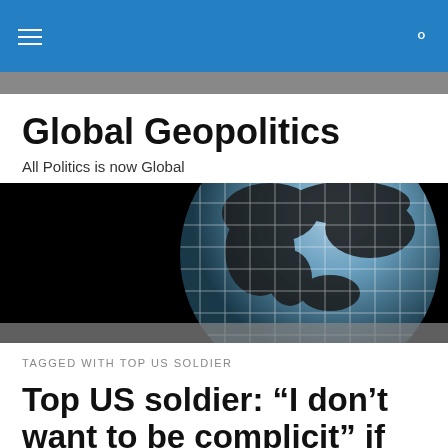Global Geopolitics — navigation bar
Global Geopolitics
All Politics is now Global
[Figure (photo): Globe with latitude/longitude grid lines on black background, showing world map silhouette in blue-gray tones]
TAGGED WITH TOP US SOLDIER
Top US soldier: “I don’t want to be complicit” if Israel attacks Iran